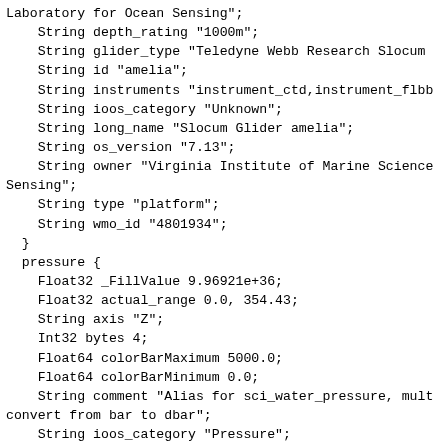Laboratory for Ocean Sensing";
    String depth_rating "1000m";
    String glider_type "Teledyne Webb Research Slocum
    String id "amelia";
    String instruments "instrument_ctd,instrument_flbb
    String ioos_category "Unknown";
    String long_name "Slocum Glider amelia";
    String os_version "7.13";
    String owner "Virginia Institute of Marine Science
Sensing";
    String type "platform";
    String wmo_id "4801934";
  }
  pressure {
    Float32 _FillValue 9.96921e+36;
    Float32 actual_range 0.0, 354.43;
    String axis "Z";
    Int32 bytes 4;
    Float64 colorBarMaximum 5000.0;
    Float64 colorBarMinimum 0.0;
    String comment "Alias for sci_water_pressure, mult
convert from bar to dbar";
    String ioos_category "Pressure";
    String long_name "CTD Pressure";
    String observation_type "measured";